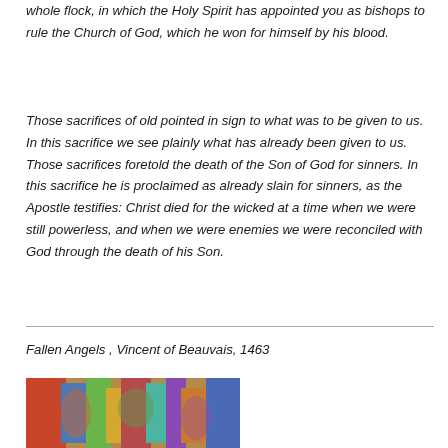whole flock, in which the Holy Spirit has appointed you as bishops to rule the Church of God, which he won for himself by his blood.
Those sacrifices of old pointed in sign to what was to be given to us. In this sacrifice we see plainly what has already been given to us. Those sacrifices foretold the death of the Son of God for sinners. In this sacrifice he is proclaimed as already slain for sinners, as the Apostle testifies: Christ died for the wicked at a time when we were still powerless, and when we were enemies we were reconciled with God through the death of his Son.
Fallen Angels , Vincent of Beauvais, 1463
[Figure (photo): A colorful painting depicting fallen angels, from Vincent of Beauvais, 1463]